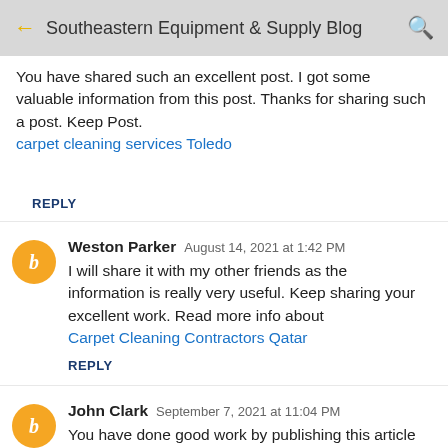Southeastern Equipment & Supply Blog
You have shared such an excellent post. I got some valuable information from this post. Thanks for sharing such a post. Keep Post. carpet cleaning services Toledo
REPLY
Weston Parker  August 14, 2021 at 1:42 PM
I will share it with my other friends as the information is really very useful. Keep sharing your excellent work. Read more info about Carpet Cleaning Contractors Qatar
REPLY
John Clark  September 7, 2021 at 11:04 PM
You have done good work by publishing this article here. I found this article too much